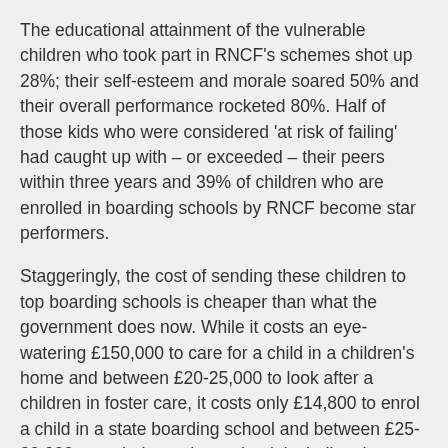The educational attainment of the vulnerable children who took part in RNCF's schemes shot up 28%; their self-esteem and morale soared 50% and their overall performance rocketed 80%. Half of those kids who were considered 'at risk of failing' had caught up with – or exceeded – their peers within three years and 39% of children who are enrolled in boarding schools by RNCF become star performers.
Staggeringly, the cost of sending these children to top boarding schools is cheaper than what the government does now. While it costs an eye-watering £150,000 to care for a child in a children's home and between £20-25,000 to look after a children in foster care, it costs only £14,800 to enrol a child in a state boarding school and between £25-30,000 at an independent school, including the cost of care during school holidays. And the actual amount the government pays will be much lower after charities, philanthropists, schools and businesses get involved.
I know that these bursaries won't work for all children. Some